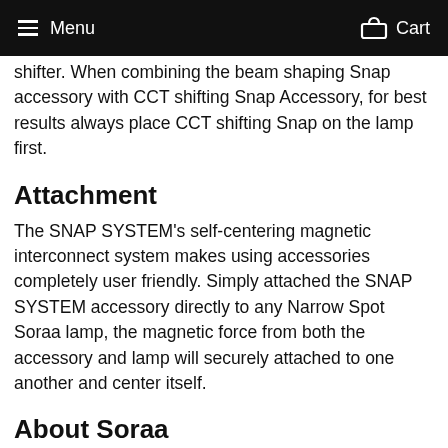Menu  Cart
shifter. When combining the beam shaping Snap accessory with CCT shifting Snap Accessory, for best results always place CCT shifting Snap on the lamp first.
Attachment
The SNAP SYSTEM’s self-centering magnetic interconnect system makes using accessories completely user friendly. Simply attached the SNAP SYSTEM accessory directly to any Narrow Spot Soraa lamp, the magnetic force from both the accessory and lamp will securely attached to one another and center itself.
About Soraa
Located in California, Soraa is a pioneer in full spectrum LED lighting, focusing on producing the most natural light possible. The company's products are used in museums, stores, hotels, restaurants, and other areas where an unmatched quality of light is required to enhance the atmosphere and emotion of the space